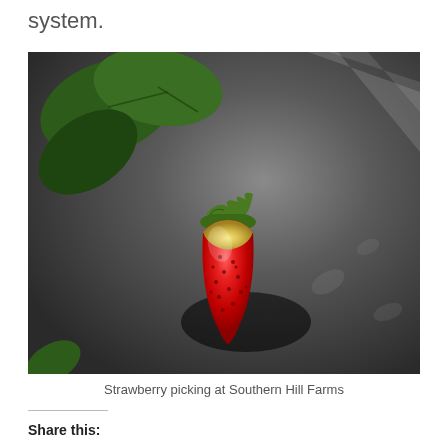system.
[Figure (photo): Close-up photograph of a strawberry on a dark plastic mulch surface, with green leaves visible in the upper left. The strawberry is partially red and partially white/yellow, indicating it is ripening.]
Strawberry picking at Southern Hill Farms
Share this: